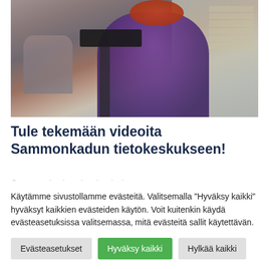[Figure (photo): A woman in a purple top with red hair and glasses operating a Canon video camera on a tripod in an office/media center setting. Another person is visible in the background.]
Tule tekemään videoita Sammonkadun tietokeskukseen!
Sammonkadun tietokeskuksessa on
Käytämme sivustollamme evästeitä. Valitsemalla "Hyväksy kaikki" hyväksyt kaikkien evästeiden käytön. Voit kuitenkin käydä evästeasetuksissa valitsemassa, mitä evästeitä sallit käytettävän.
Evästeasetukset
Hyväksy kaikki
Hylkää kaikki